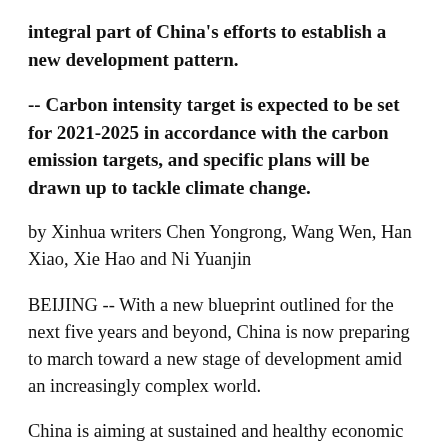integral part of China's efforts to establish a new development pattern.
-- Carbon intensity target is expected to be set for 2021-2025 in accordance with the carbon emission targets, and specific plans will be drawn up to tackle climate change.
by Xinhua writers Chen Yongrong, Wang Wen, Han Xiao, Xie Hao and Ni Yuanjin
BEIJING -- With a new blueprint outlined for the next five years and beyond, China is now preparing to march toward a new stage of development amid an increasingly complex world.
China is aiming at sustained and healthy economic development on the basis of a marked improvement in quality and efficiency, according to a communique released Thursday after the fifth plenary session of the 19th Central Committee of the Communist Party of China.